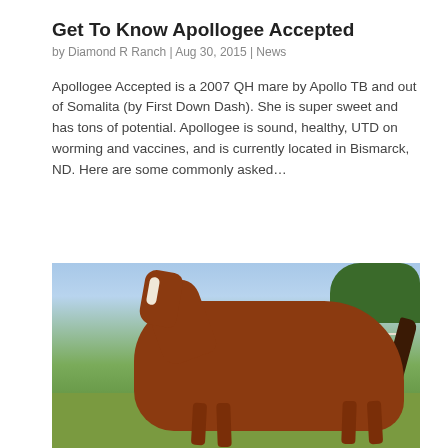Get To Know Apollogee Accepted
by Diamond R Ranch | Aug 30, 2015 | News
Apollogee Accepted is a 2007 QH mare by Apollo TB and out of Somalita (by First Down Dash). She is super sweet and has tons of potential. Apollogee is sound, healthy, UTD on worming and vaccines, and is currently located in Bismarck, ND. Here are some commonly asked…
[Figure (photo): A chestnut quarter horse mare standing in a grassy paddock. The horse has a white blaze on its face. Green trees and a white fence are visible in the background under a blue sky.]